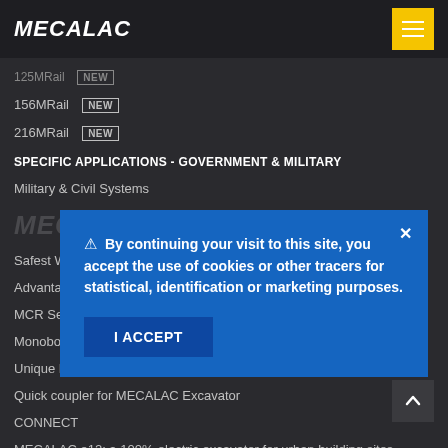MECALAC
125MRail  New
156MRail  New
216MRail  New
SPECIFIC APPLICATIONS - GOVERNMENT & MILITARY
Military & Civil Systems
MECALAC CONCEPTS
Safest Whe...
Advantage...
MCR Series
Monoboom...
Unique MD...
Quick coupler for MECALAC Excavator
CONNECT
MECALAC e12: a 100%-electric excavator for urban building sites
MDX, new Mecalac Cab Dumpers
⚠ By continuing your visit to this site, you accept the use of cookies or other tracers for statistical, identification or marketing purposes.
I ACCEPT